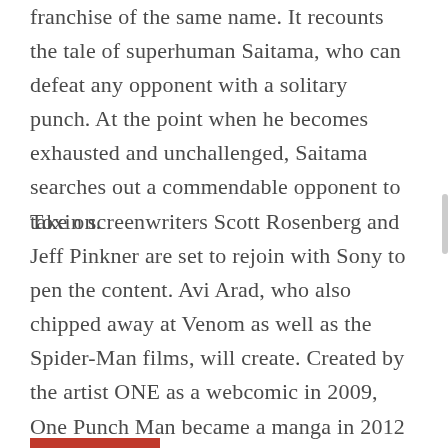franchise of the same name. It recounts the tale of superhuman Saitama, who can defeat any opponent with a solitary punch. At the point when he becomes exhausted and unchallenged, Saitama searches out a commendable opponent to take on.
Toxin screenwriters Scott Rosenberg and Jeff Pinkner are set to rejoin with Sony to pen the content. Avi Arad, who also chipped away at Venom as well as the Spider-Man films, will create. Created by the artist ONE as a webcomic in 2009, One Punch Man became a manga in 2012 with illustrations by Yusuke Murata. It was adapted into a popular anime soon after, getting a knock in American viewership following its Netflix debut.